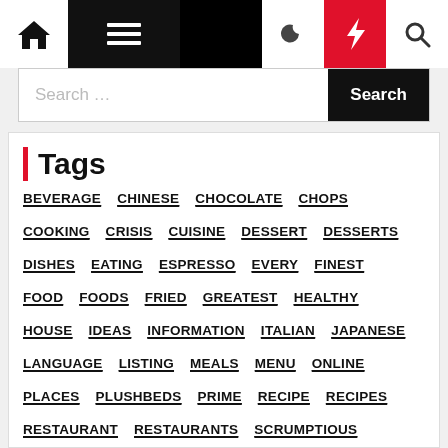Navigation bar with home, menu, moon, lightning, search icons
Search ...
Tags
BEVERAGE
CHINESE
CHOCOLATE
CHOPS
COOKING
CRISIS
CUISINE
DESSERT
DESSERTS
DISHES
EATING
ESPRESSO
EVERY
FINEST
FOOD
FOODS
FRIED
GREATEST
HEALTHY
HOUSE
IDEAS
INFORMATION
ITALIAN
JAPANESE
LANGUAGE
LISTING
MEALS
MENU
ONLINE
PLACES
PLUSHBEDS
PRIME
RECIPE
RECIPES
RESTAURANT
RESTAURANTS
SCRUMPTIOUS